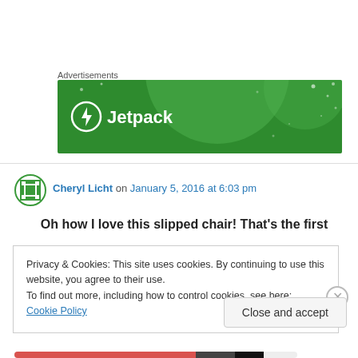Advertisements
[Figure (photo): Jetpack advertisement banner with green background, large semi-transparent circle, scattered dots/stars, and Jetpack logo with lightning bolt icon and white text saying 'Jetpack']
Cheryl Licht on January 5, 2016 at 6:03 pm
Oh how I love this slipped chair! That's the first
Privacy & Cookies: This site uses cookies. By continuing to use this website, you agree to their use.
To find out more, including how to control cookies, see here: Cookie Policy
Close and accept